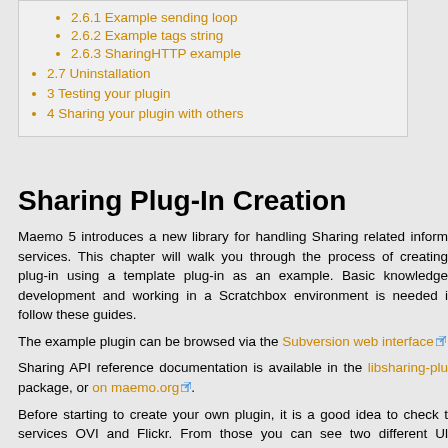2.6.1 Example sending loop
2.6.2 Example tags string
2.6.3 SharingHTTP example
2.7 Uninstallation
3 Testing your plugin
4 Sharing your plugin with others
Sharing Plug-In Creation
Maemo 5 introduces a new library for handling Sharing related information and services. This chapter will walk you through the process of creating a sharing plug-in using a template plug-in as an example. Basic knowledge of plug-in development and working in a Scratchbox environment is needed in order to follow these guides.
The example plugin can be browsed via the Subversion web interface
Sharing API reference documentation is available in the libsharing-plugin-dev package, or on maemo.org.
Before starting to create your own plugin, it is a good idea to check the existing services OVI and Flickr. From those you can see two different UI flows for creating a sharing account. In OVI the UI flow is pretty simple and clean, just enter the user name and password and then validate the account. In Flickr the flow is more complex, as before validation the user must login to Flickr service and then the activation rules during the validation of the...